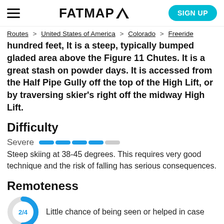FATMAP [logo] | SIGN UP
Routes > United States of America > Colorado > Freeride
hundred feet, It is a steep, typically bumped gladed area above the Figure 11 Chutes. It is a great stash on powder days. It is accessed from the Half Pipe Gully off the top of the High Lift, or by traversing skier's right off the midway High Lift.
Difficulty
Severe [bar indicator]
Steep skiing at 38-45 degrees. This requires very good technique and the risk of falling has serious consequences.
Remoteness
[Figure (donut-chart): Partial donut/gauge chart showing remoteness level 2/4, with a blue arc on a light grey circle background]
Little chance of being seen or helped in case